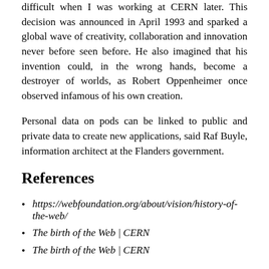difficult when I was working at CERN later. This decision was announced in April 1993 and sparked a global wave of creativity, collaboration and innovation never before seen before. He also imagined that his invention could, in the wrong hands, become a destroyer of worlds, as Robert Oppenheimer once observed infamous of his own creation.
Personal data on pods can be linked to public and private data to create new applications, said Raf Buyle, information architect at the Flanders government.
References
https://webfoundation.org/about/vision/history-of-the-web/
The birth of the Web | CERN
The birth of the Web | CERN